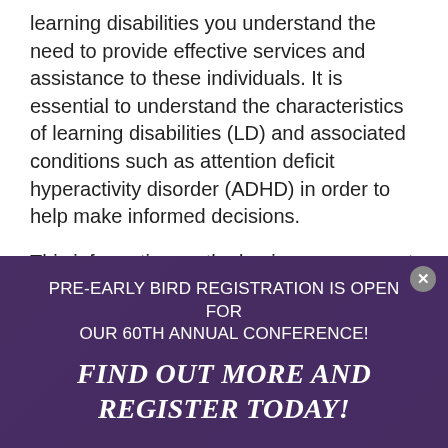learning disabilities you understand the need to provide effective services and assistance to these individuals. It is essential to understand the characteristics of learning disabilities (LD) and associated conditions such as attention deficit hyperactivity disorder (ADHD) in order to help make informed decisions.
This information on the basics, assessment and evaluation, specifics on children and adults with learning disabilities, mental health issues, and professional resources will be frequently updated with articles by our professional advisory board and others who have knowledge...
PRE-EARLY BIRD REGISTRATION IS OPEN FOR OUR 60TH ANNUAL CONFERENCE!
FIND OUT MORE AND REGISTER TODAY!